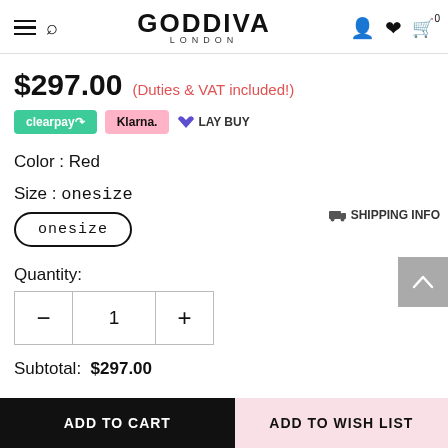GODDIVA LONDON
$297.00 (Duties & VAT included!)
clearpay Klarna. LAYBUY
Color : Red
SHIPPING INFO
Size : onesize
onesize
Quantity:
− 1 +
Subtotal: $297.00
ADD TO CART
ADD TO WISH LIST